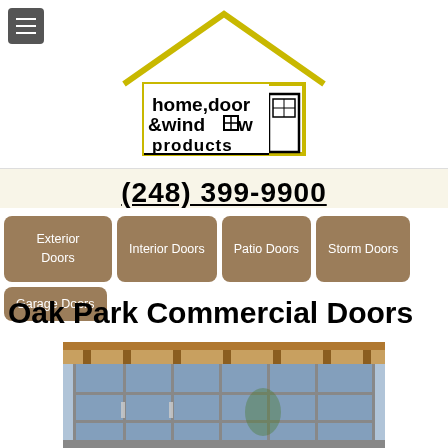[Figure (logo): Home, Door & Window Products logo — house outline in yellow/black with text 'home, door & window products' inside]
(248) 399-9900
Exterior Doors
Interior Doors
Patio Doors
Storm Doors
Garage Doors
Oak Park Commercial Doors
[Figure (photo): Commercial glass door entrance of a building under construction with floor-to-ceiling glass panels and exposed wood framing above]